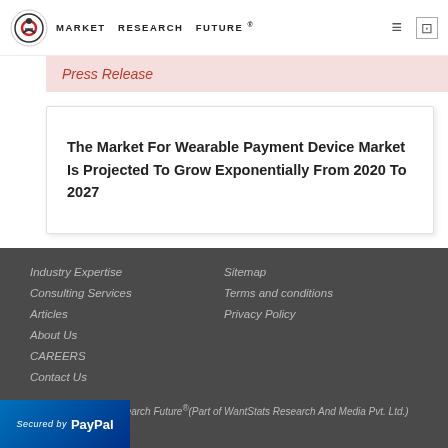MARKET RESEARCH FUTURE
Press Release
The Market For Wearable Payment Device Market Is Projected To Grow Exponentially From 2020 To 2027
Industry Expertise
Consulting Services
Articles
About Us
CAREERS
Contact Us
Sitemap
Terms and conditions
Privacy Policy
© 2022 Market Research Future®(Part of WantStats Research And Media Pvt. Ltd.)
[Figure (logo): Secured by PayPal badge — blue rectangle with PayPal logo]
CONNECT WITH US